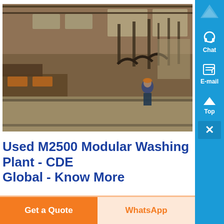[Figure (photo): Interior of an industrial facility/washing plant with large machinery, pipes, overhead lighting, and a worker visible in the background. Dark brown/rust tones with industrial equipment.]
Used M2500 Modular Washing Plant - CDE Global - Know More
Get a Quote
WhatsApp